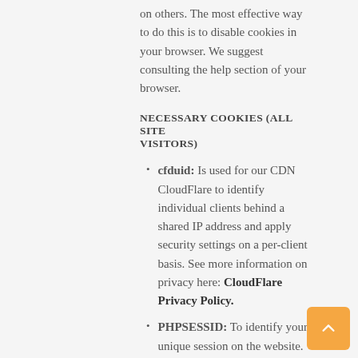on others. The most effective way to do this is to disable cookies in your browser. We suggest consulting the help section of your browser.
NECESSARY COOKIES (ALL SITE VISITORS)
cfduid: Is used for our CDN CloudFlare to identify individual clients behind a shared IP address and apply security settings on a per-client basis. See more information on privacy here: CloudFlare Privacy Policy.
PHPSESSID: To identify your unique session on the website.